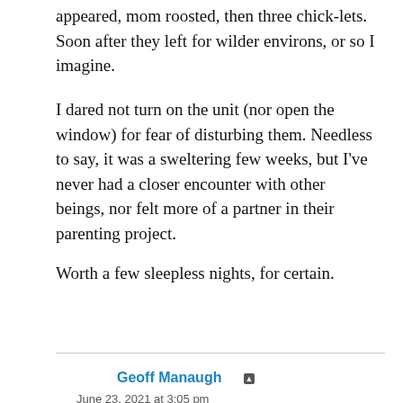appeared, mom roosted, then three chick-lets. Soon after they left for wilder environs, or so I imagine.
I dared not turn on the unit (nor open the window) for fear of disturbing them. Needless to say, it was a sweltering few weeks, but I've never had a closer encounter with other beings, nor felt more of a partner in their parenting project.
Worth a few sleepless nights, for certain.
Reply
Geoff Manaugh
June 23, 2021 at 3:05 pm